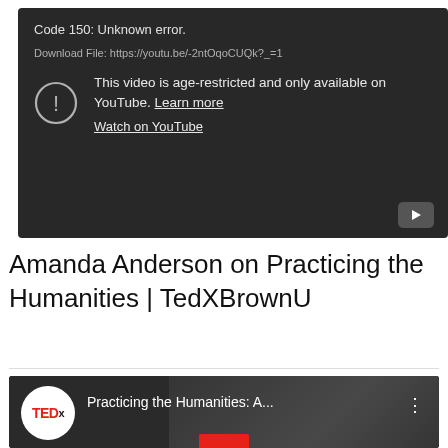[Figure (screenshot): YouTube video error block showing dark background with 'Code 150: Unknown error.' message, download file URL, age-restriction notice with warning icon, 'Learn more' and 'Watch on YouTube' links, and a play button in the bottom right corner.]
Amanda Anderson on Practicing the Humanities | TedXBrownU
[Figure (screenshot): YouTube video thumbnail showing TEDx logo on left, title 'Practicing the Humanities: A...' and three-dot menu icon, with a person visible in the background and a red progress bar at bottom.]